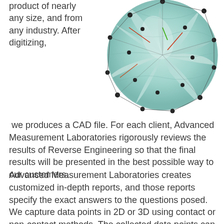product of nearly any size, and from any industry. After digitizing,
[Figure (engineering-diagram): 3D CAD model of a turbine/impeller blade with black control points/nodes and green/red lines overlaid, shown against a white background.]
we produces a CAD file. For each client, Advanced Measurement Laboratories rigorously reviews the results of Reverse Engineering so that the final results will be presented in the best possible way to our customers.
Advanced Measurement Laboratories creates customized in-depth reports, and those reports specify the exact answers to the questions posed. We capture data points in 2D or 3D using contact or non-contact methods. The collected data points can be supplied in convenient CAD formats as required